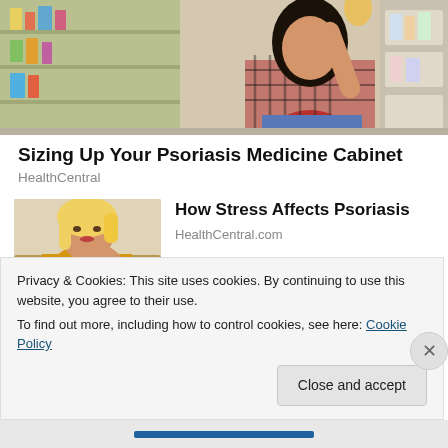[Figure (photo): Woman in a red plaid shirt browsing products in a pharmacy/store aisle, reaching for items on a shelf]
Sizing Up Your Psoriasis Medicine Cabinet
HealthCentral
[Figure (photo): Blonde woman in a yellow sweater scratching or examining her arm, looking at skin condition]
How Stress Affects Psoriasis
HealthCentral.com
Privacy & Cookies: This site uses cookies. By continuing to use this website, you agree to their use.
To find out more, including how to control cookies, see here: Cookie Policy
Close and accept